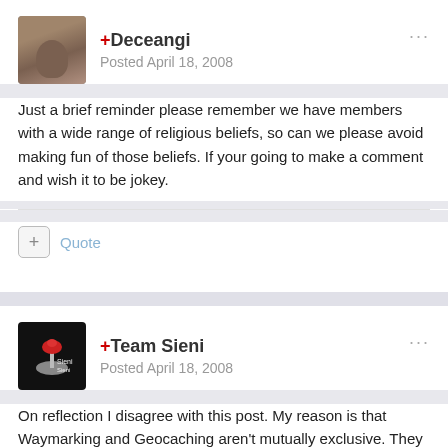+Deceangi
Posted April 18, 2008
Just a brief reminder please remember we have members with a wide range of religious beliefs, so can we please avoid making fun of those beliefs. If your going to make a comment and wish it to be jokey.
Quote
+Team Sieni
Posted April 18, 2008
On reflection I disagree with this post. My reason is that Waymarking and Geocaching aren't mutually exclusive. They are entirely different activities, both valid in their own right, so I see no reason why both should not be undertaken provided the property rights of the church are respected at all